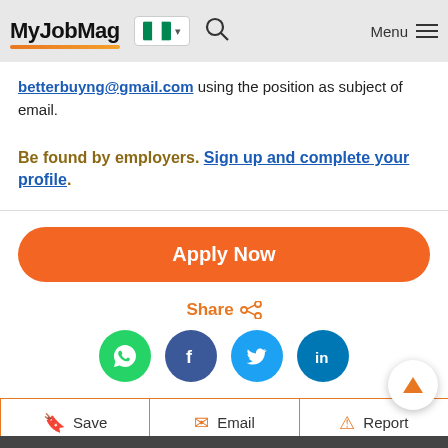MyJobMag [Nigeria flag] Menu
betterbuyng@gmail.com using the position as subject of email.
Be found by employers. Sign up and complete your profile.
Apply Now
Share
[Figure (infographic): Social share icons: WhatsApp (green), Facebook (dark blue), Twitter (light blue), LinkedIn (blue)]
Save  Email  Report